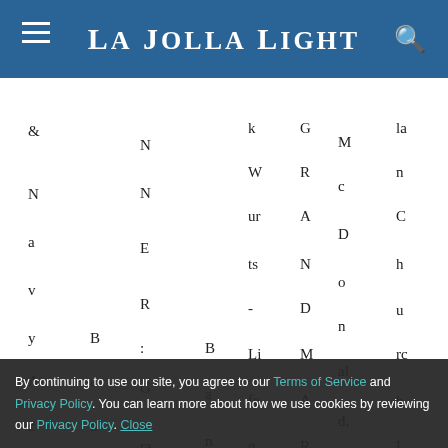La Jolla Light
[Figure (screenshot): Word search puzzle grid with scattered letters visible, partially obscured by cookie consent overlay]
By continuing to use our site, you agree to our Terms of Service and Privacy Policy. You can learn more about how we use cookies by reviewing our Privacy Policy. Close